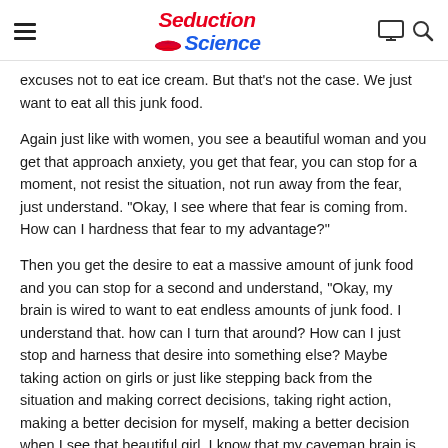Seduction Science
excuses not to eat ice cream. But that's not the case. We just want to eat all this junk food.
Again just like with women, you see a beautiful woman and you get that approach anxiety, you get that fear, you can stop for a moment, not resist the situation, not run away from the fear, just understand. "Okay, I see where that fear is coming from. How can I hardness that fear to my advantage?"
Then you get the desire to eat a massive amount of junk food and you can stop for a second and understand, "Okay, my brain is wired to want to eat endless amounts of junk food. I understand that. how can I turn that around? How can I just stop and harness that desire into something else? Maybe taking action on girls or just like stepping back from the situation and making correct decisions, taking right action, making a better decision for myself, making a better decision when I see that beautiful girl, I know that my caveman brain is telling me not to go up to her, but I'm going to